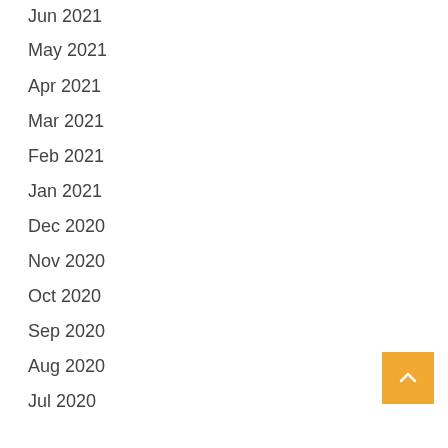Jun 2021
May 2021
Apr 2021
Mar 2021
Feb 2021
Jan 2021
Dec 2020
Nov 2020
Oct 2020
Sep 2020
Aug 2020
Jul 2020